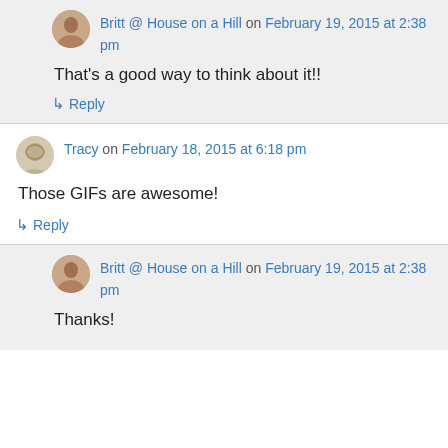Britt @ House on a Hill on February 19, 2015 at 2:38 pm
That's a good way to think about it!!
↳ Reply
Tracy on February 18, 2015 at 6:18 pm
Those GIFs are awesome!
↳ Reply
Britt @ House on a Hill on February 19, 2015 at 2:38 pm
Thanks!